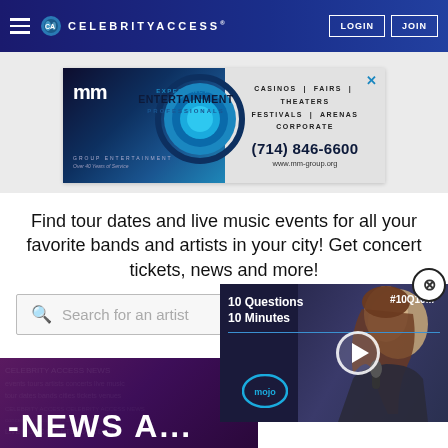CELEBRITYACCESS — LOGIN | JOIN
[Figure (illustration): MM Group Entertainment advertisement banner. Left side dark blue/teal with mm logo and circular graphic. Text: EXPERIENCED ENTERTAINMENT PROFESSIONALS. Right side: CASINOS | FAIRS | THEATERS, FESTIVALS | ARENAS, CORPORATE, (714) 846-6600, www.mm-group.org]
Find tour dates and live music events for all your favorite bands and artists in your city! Get concert tickets, news and more!
Search for an artist
[Figure (screenshot): Video popup overlay showing '10 Questions 10 Minutes' with hashtag #10Q10M, featuring a woman with long hair holding a microphone. WatchMojo logo visible. Play button centered.]
[Figure (photo): News section bottom strip showing partial text 'NEWS A...' in white bold letters on dark purple/maroon background with textured pattern]